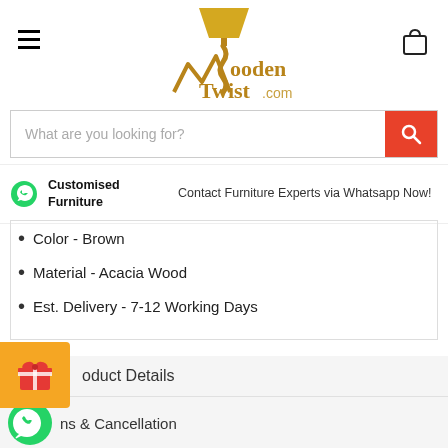[Figure (logo): WoodenTwist.com logo with lamp and stylized W]
[Figure (other): Hamburger menu icon (three horizontal lines)]
[Figure (other): Shopping bag icon]
What are you looking for?
Customised Furniture
Contact Furniture Experts via Whatsapp Now!
Color - Brown
Material - Acacia Wood
Est. Delivery - 7-12 Working Days
[Figure (other): Gift icon orange badge]
Product Details
[Figure (other): WhatsApp icon large green]
ns & Cancellation